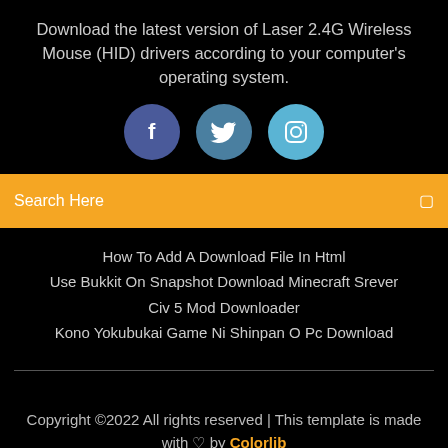Download the latest version of Laser 2.4G Wireless Mouse (HID) drivers according to your computer's operating system.
[Figure (illustration): Three social media icon circles: Facebook (dark blue), Twitter (medium blue), Instagram (light blue)]
Search Here
How To Add A Download File In Html
Use Bukkit On Snapshot Download Minecraft Srever
Civ 5 Mod Downloader
Kono Yokubukai Game Ni Shinpan O Pc Download
Copyright ©2022 All rights reserved | This template is made with ♡ by Colorlib